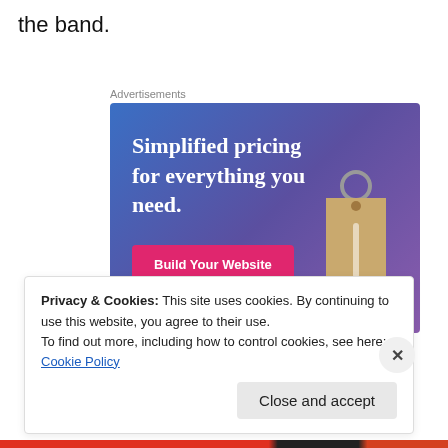the band.
Advertisements
[Figure (illustration): Advertisement banner with gradient blue-purple background showing 'Simplified pricing for everything you need.' headline, a pink 'Build Your Website' button, and a tan price tag hanging from a ring on the right side.]
Privacy & Cookies: This site uses cookies. By continuing to use this website, you agree to their use.
To find out more, including how to control cookies, see here: Cookie Policy